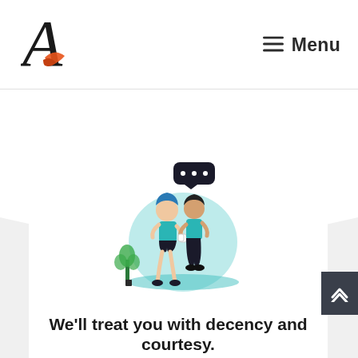Menu
[Figure (illustration): Two women having a conversation with a speech bubble above them, standing in front of a teal circle, with a plant to the left. Flat vector illustration style.]
We'll treat you with decency and courtesy.